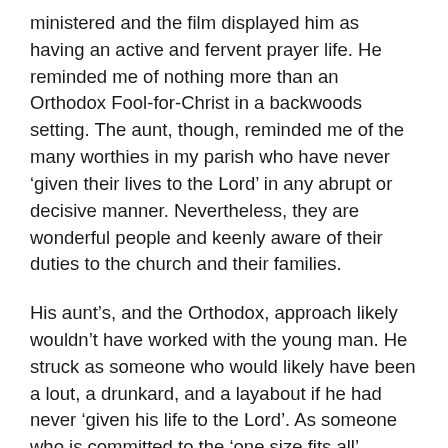ministered and the film displayed him as having an active and fervent prayer life. He reminded me of nothing more than an Orthodox Fool-for-Christ in a backwoods setting. The aunt, though, reminded me of the many worthies in my parish who have never 'given their lives to the Lord' in any abrupt or decisive manner. Nevertheless, they are wonderful people and keenly aware of their duties to the church and their families.
His aunt's, and the Orthodox, approach likely wouldn't have worked with the young man. He struck as someone who would likely have been a lout, a drunkard, and a layabout if he had never 'given his life to the Lord'. As someone who is committed to the 'one size fits all' religious life of Orthodoxy, I am in something of a quandry.